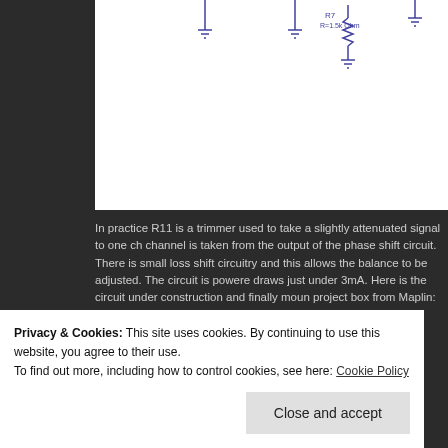[Figure (circuit-diagram): Partial schematic showing resistor R7 (R=1.5k Ohm) with ground symbols and component connections on a white background]
In practice R11 is a trimmer used to take a slightly attenuated signal to one channel is taken from the output of the phase shift circuit. There is small loss shift circuitry and this allows the balance to be adjusted. The circuit is powered draws just under 3mA. Here is the circuit under construction and finally mounted project box from Maplin:
[Figure (photo): Decorative banner strip with orange to purple gradient with music/pattern motifs, partially visible. 'REPORT TH...' text visible below.]
Privacy & Cookies: This site uses cookies. By continuing to use this website, you agree to their use.
To find out more, including how to control cookies, see here: Cookie Policy
Close and accept